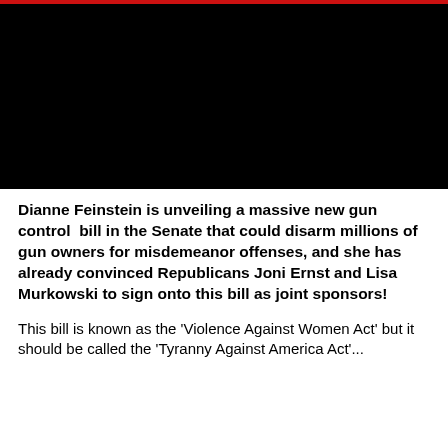[Figure (photo): Black rectangle at top of page, likely a video thumbnail or image placeholder with a red border line at the very top]
Dianne Feinstein is unveiling a massive new gun control  bill in the Senate that could disarm millions of gun owners for misdemeanor offenses, and she has already convinced Republicans Joni Ernst and Lisa Murkowski to sign onto this bill as joint sponsors!
This bill is known as the 'Violence Against Women Act' but it should be called the 'Tyranny Against America Act'...